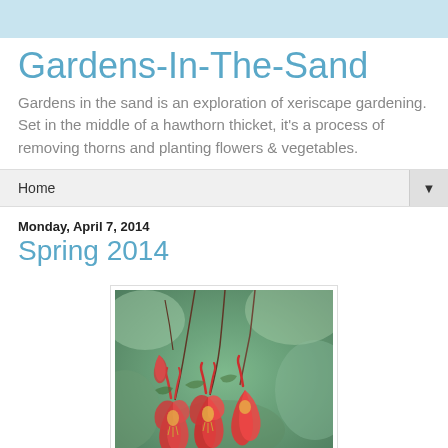Gardens-In-The-Sand
Gardens in the sand is an exploration of xeriscape gardening. Set in the middle of a hawthorn thicket, it's a process of removing thorns and planting flowers & vegetables.
Home
Monday, April 7, 2014
Spring 2014
[Figure (photo): Close-up photo of red columbine flowers hanging from stems with blurred green background]